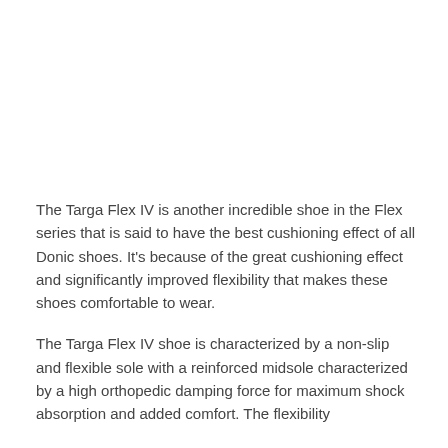The Targa Flex IV is another incredible shoe in the Flex series that is said to have the best cushioning effect of all Donic shoes. It's because of the great cushioning effect and significantly improved flexibility that makes these shoes comfortable to wear.
The Targa Flex IV shoe is characterized by a non-slip and flexible sole with a reinforced midsole characterized by a high orthopedic damping force for maximum shock absorption and added comfort. The flexibility